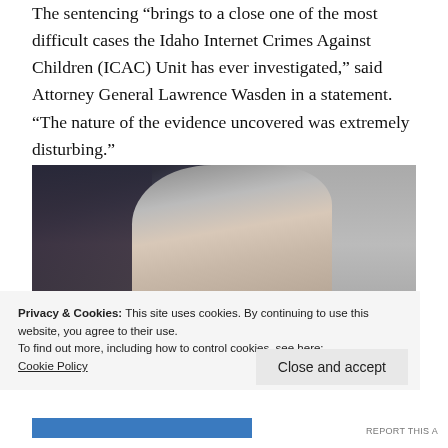The sentencing “brings to a close one of the most difficult cases the Idaho Internet Crimes Against Children (ICAC) Unit has ever investigated,” said Attorney General Lawrence Wasden in a statement. “The nature of the evidence uncovered was extremely disturbing.”
[Figure (photo): Courtroom photo of an elderly man with glasses, viewed from the side, with another person visible in the foreground and background]
Privacy & Cookies: This site uses cookies. By continuing to use this website, you agree to their use.
To find out more, including how to control cookies, see here:
Cookie Policy
Close and accept